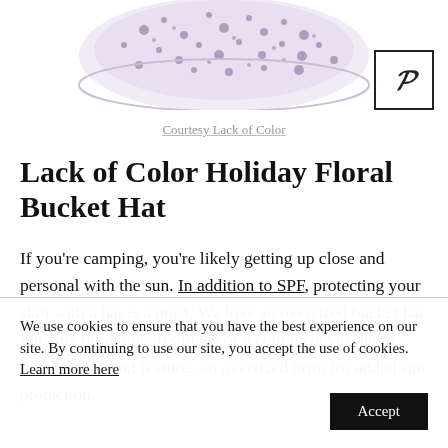[Figure (photo): Floral purple bucket hat, cropped view from above, partial image at top of page]
[Figure (logo): Pinterest save button icon (cursive P) inside a square border, top right]
Courtesy Lack of Color
Lack of Color Holiday Floral Bucket Hat
If you're camping, you're likely getting up close and personal with the sun. In addition to SPF, protecting your skin with a hat is a must. We love an oversized bucket hat like this floral one. It's made of a cotton canvas, has a relaxed feel, and features an oversized brim for added sun protection.
We use cookies to ensure that you have the best experience on our site. By continuing to use our site, you accept the use of cookies. Learn more here
Accept